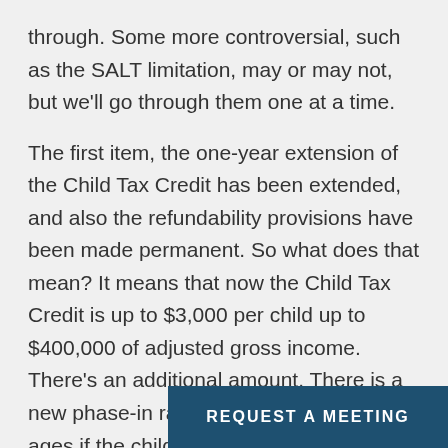through. Some more controversial, such as the SALT limitation, may or may not, but we'll go through them one at a time.
The first item, the one-year extension of the Child Tax Credit has been extended, and also the refundability provisions have been made permanent. So what does that mean? It means that now the Child Tax Credit is up to $3,000 per child up to $400,000 of adjusted gross income. There's an additional amount. There is a new phase-in range. There are also new ages if the child is under six. There's a whole host of chan... Credit. I won't go in...
REQUEST A MEETING